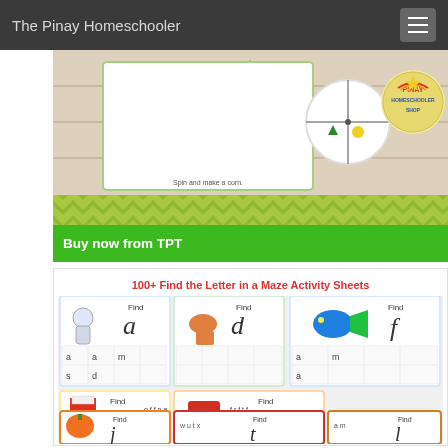The Pinay Homeschooler
[Figure (illustration): Educational worksheet banner with colorful geometric star of David shape in green and yellow hexagons, a spinner circle, and a Pinay Homeschooler Shop badge. Text reads 'Spin and make a corn.' on a wood plank background with green chevron strip at bottom.]
Buy now from TPT
100+ Find the Letter in a Maze Activity Sheets
[Figure (illustration): Collection of 'Find the Letter in a Maze' activity worksheets showing cards with letters a, d, f, p, t, j, t, l and themed clipart images including astronaut, dinosaur, fish, popcorn, train, pumpkin, nutcracker soldier, and basket of apples. Letter grids appear on each card for children to find and mark specific letters.]